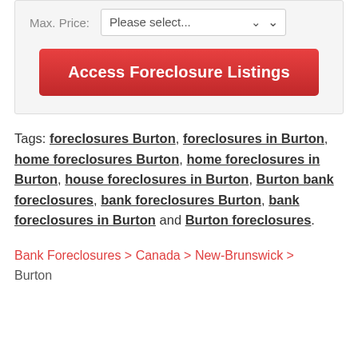[Figure (screenshot): A form widget with a Max. Price dropdown selector showing 'Please select...' and a red 'Access Foreclosure Listings' button]
Tags: foreclosures Burton, foreclosures in Burton, home foreclosures Burton, home foreclosures in Burton, house foreclosures in Burton, Burton bank foreclosures, bank foreclosures Burton, bank foreclosures in Burton and Burton foreclosures.
Bank Foreclosures > Canada > New-Brunswick > Burton